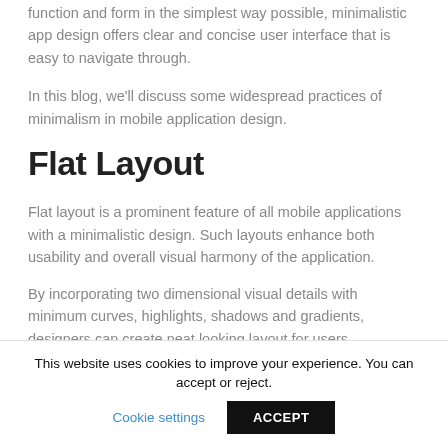function and form in the simplest way possible, minimalistic app design offers clear and concise user interface that is easy to navigate through.
In this blog, we'll discuss some widespread practices of minimalism in mobile application design.
Flat Layout
Flat layout is a prominent feature of all mobile applications with a minimalistic design. Such layouts enhance both usability and overall visual harmony of the application.
By incorporating two dimensional visual details with minimum curves, highlights, shadows and gradients, designers can create neat looking layout for users.
This website uses cookies to improve your experience. You can accept or reject.